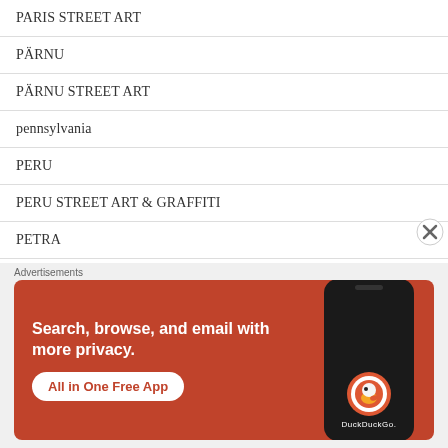PARIS STREET ART
PÄRNU
PÄRNU STREET ART
pennsylvania
PERU
PERU STREET ART & GRAFFITI
PETRA
PHILADELPHIA
PINGYAO
[Figure (screenshot): DuckDuckGo advertisement banner: orange background with text 'Search, browse, and email with more privacy. All in One Free App' and an image of a smartphone with DuckDuckGo logo]